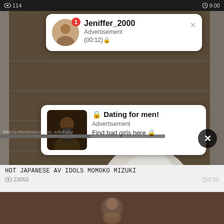[Figure (screenshot): Video thumbnail showing a person in a plaid skirt and white top, with overlaid notification popups and a video player UI]
Jeniffer_2000
Advertisement
(00:12)🔒
🔒 Dating for men!
Advertisement
Find bad girls here 🔒
HOT JAPANESE AV IDOLS MOMOKO MIZUKI
23050